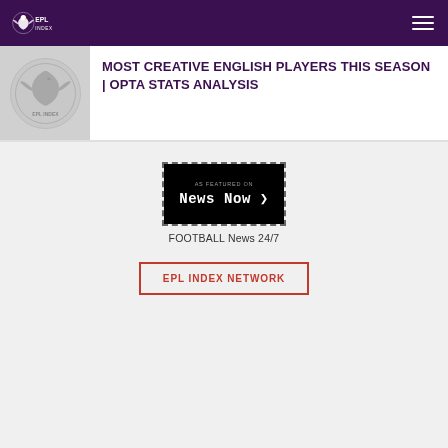[Figure (logo): EPL Index logo - white eagle/lion crest with EPL Index text on dark purple navigation bar]
MOST CREATIVE ENGLISH PLAYERS THIS SEASON | OPTA STATS ANALYSIS
[Figure (logo): EPL circle logo - grey circular badge with eagle/lion crest]
[Figure (logo): News Now badge - black dotted border rectangle with 'AS FEATURED ON' and 'News Now >' text]
FOOTBALL News 24/7
EPL INDEX NETWORK